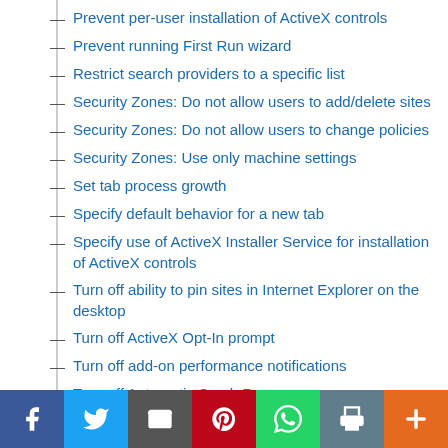Prevent per-user installation of ActiveX controls
Prevent running First Run wizard
Restrict search providers to a specific list
Security Zones: Do not allow users to add/delete sites
Security Zones: Do not allow users to change policies
Security Zones: Use only machine settings
Set tab process growth
Specify default behavior for a new tab
Specify use of ActiveX Installer Service for installation of ActiveX controls
Turn off ability to pin sites in Internet Explorer on the desktop
Turn off ActiveX Opt-In prompt
Turn off add-on performance notifications
Turn off Automatic Crash Recovery
Turn off browser geolocation
Turn off configuration of pop-up windows in tabbed browsing